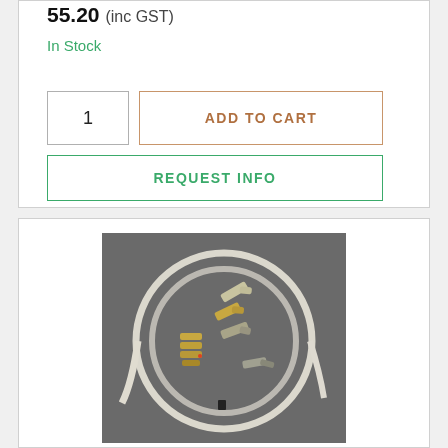55.20 (inc GST)
In Stock
1
ADD TO CART
REQUEST INFO
[Figure (photo): A coiled clear/white cable or tubing arranged in a circle on a dark gray background, with several gold and silver metal fittings/connectors arranged in the center of the coil.]